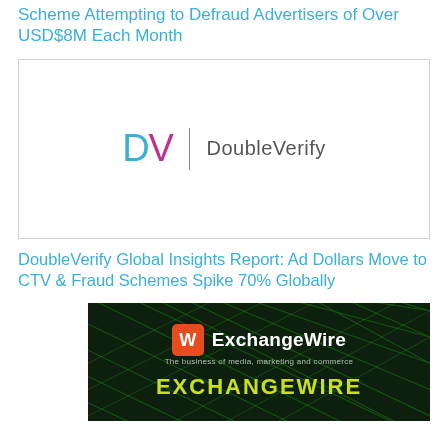Scheme Attempting to Defraud Advertisers of Over USD$8M Each Month
[Figure (logo): DoubleVerify logo: 'DV' with D in teal and V in magenta, vertical divider, then 'DoubleVerify' in gray text]
DoubleVerify Global Insights Report: Ad Dollars Move to CTV & Fraud Schemes Spike 70% Globally
[Figure (logo): ExchangeWire logo on dark green background with diagonal fiber-optic lines. Orange square W icon, white bold 'ExchangeWire' text, tagline 'The business of media, marketing and commerce', and large yellow-green 'EXCHANGEWIRE' text at bottom]